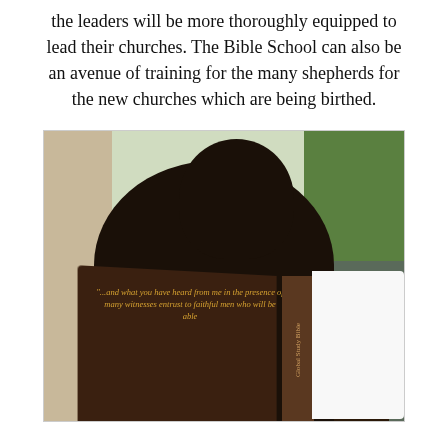the leaders will be more thoroughly equipped to lead their churches. The Bible School can also be an avenue of training for the many shepherds for the new churches which are being birthed.
[Figure (photo): A young African child holding open a dark-covered book (Global Study Bible) with a quote visible on the cover: '"...and what you have heard from me in the presence of many witnesses entrust to faithful men who will be able'. The spine reads 'Global Study Bible'. The white back cover shows the Global Study Bible branding with a world map graphic.]